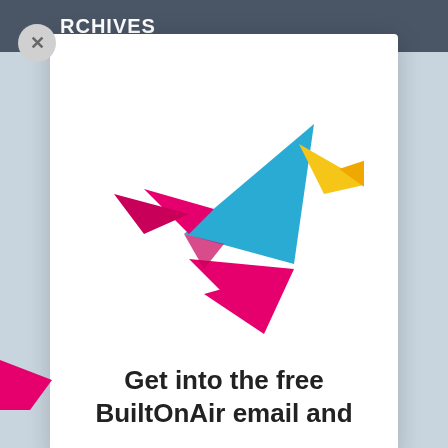ARCHIVES
[Figure (logo): BuiltOnAir origami bird logo made of geometric shapes in cyan, magenta/pink, and yellow]
Get into the free BuiltOnAir email and